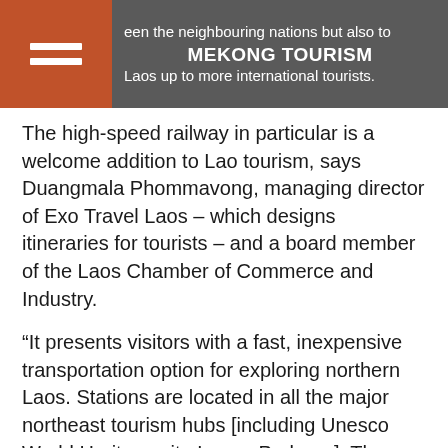MEKONG TOURISM
The high-speed railway in particular is a welcome addition to Lao tourism, says Duangmala Phommavong, managing director of Exo Travel Laos – which designs itineraries for tourists – and a board member of the Laos Chamber of Commerce and Industry.
“It presents visitors with a fast, inexpensive transportation option for exploring northern Laos. Stations are located in all the major northeast tourism hubs [including Unesco World Heritage site Luang Prabang]. The tourism industry eagerly awaits its opening.”
As well as attracting individual travellers who would have once been put off by the limited options for getting and out of the country,